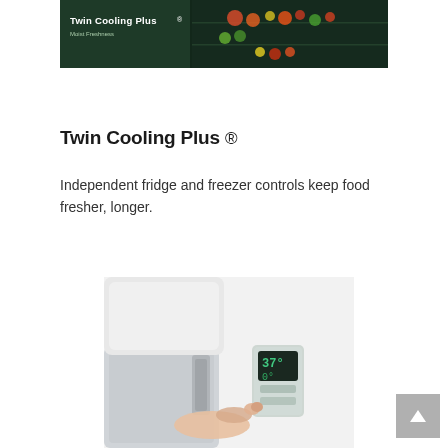[Figure (photo): Samsung Twin Cooling Plus refrigerator advertisement image showing the open fridge with fresh fruits and vegetables visible, with branding text 'Twin Cooling Plus' and 'Moist Freshness' overlaid on a dark background.]
Twin Cooling Plus ®
Independent fridge and freezer controls keep food fresher, longer.
[Figure (photo): Close-up photo of a hand pressing/touching a digital temperature control panel on a Samsung refrigerator, showing temperature display with numbers, set against a white/light grey background.]